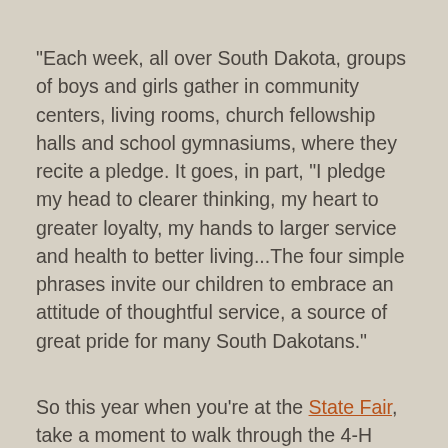"Each week, all over South Dakota, groups of boys and girls gather in community centers, living rooms, church fellowship halls and school gymnasiums, where they recite a pledge. It goes, in part, "I pledge my head to clearer thinking, my heart to greater loyalty, my hands to larger service and health to better living...The four simple phrases invite our children to embrace an attitude of thoughtful service, a source of great pride for many South Dakotans."
So this year when you're at the State Fair, take a moment to walk through the 4-H buildings to check out all of the great projects 4-Hers have been working on.  Check out programs available in your communities at igrow.org/4h/